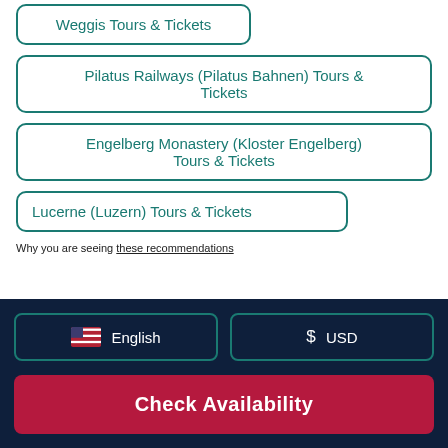Weggis Tours & Tickets
Pilatus Railways (Pilatus Bahnen) Tours & Tickets
Engelberg Monastery (Kloster Engelberg) Tours & Tickets
Lucerne (Luzern) Tours & Tickets
Why you are seeing these recommendations
English
$ USD
Check Availability